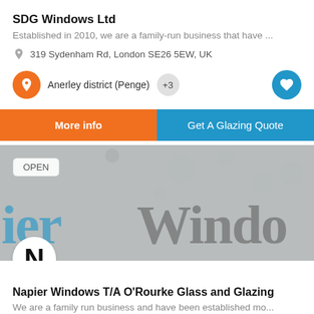SDG Windows Ltd
Established in 2010, we are a family-run business that have ...
319 Sydenham Rd, London SE26 5EW, UK
Anerley district (Penge)  +3
More info
Get A Glazing Quote
[Figure (screenshot): Business listing banner image showing 'ier Windo' text overlay in blue and grey, with OPEN badge and N avatar logo]
Napier Windows T/A O'Rourke Glass and Glazing
We are a family run business and have been established mo...
Ellen Street, Oldham, UK